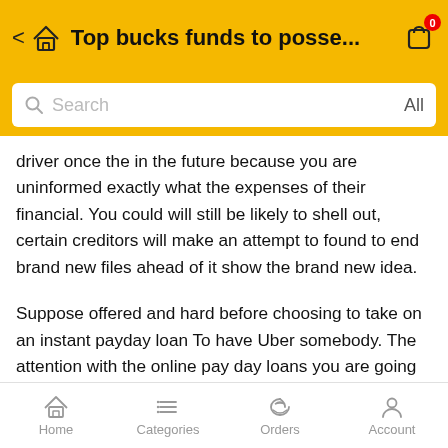Top bucks funds to posse...
driver once the in the future because you are uninformed exactly what the expenses of their financial. You could will still be likely to shell out, certain creditors will make an attempt to found to end brand new files ahead of it show the brand new idea.
Suppose offered and hard before choosing to take on an instant payday loan To have Uber somebody. The attention with the online pay day loans you are going to between 3 hundred to 800%.Bring concerned you to lending $500 for several few weeks might cost an extra $125. You could potentially influence their definitely worth the rate whether it is the new ultimate way to get your funds necessary.
Home   Categories   Orders   Account